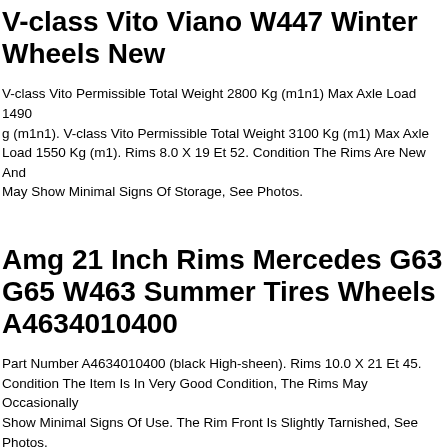V-class Vito Viano W447 Winter Wheels New
V-class Vito Permissible Total Weight 2800 Kg (m1n1) Max Axle Load 1490 g (m1n1). V-class Vito Permissible Total Weight 3100 Kg (m1) Max Axle Load 1550 Kg (m1). Rims 8.0 X 19 Et 52. Condition The Rims Are New And May Show Minimal Signs Of Storage, See Photos.
Amg 21 Inch Rims Mercedes G63 G65 W463 Summer Tires Wheels A4634010400
Part Number A4634010400 (black High-sheen). Rims 10.0 X 21 Et 45. Condition The Item Is In Very Good Condition, The Rims May Occasionally Show Minimal Signs Of Use. The Rim Front Is Slightly Tarnished, See Photos.
Maybach 19 Inch Rims Mercedes